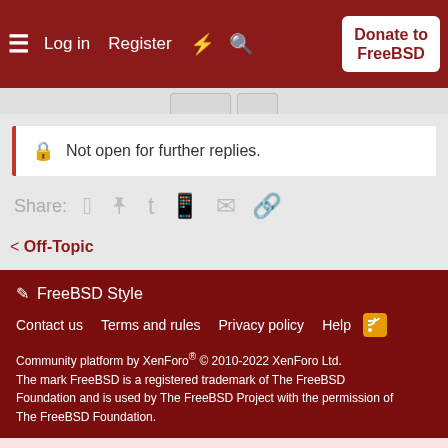Log in  Register  Donate to FreeBSD
Not open for further replies.
Share:
< Off-Topic
FreeBSD Style  Contact us  Terms and rules  Privacy policy  Help  Community platform by XenForo® © 2010-2022 XenForo Ltd. The mark FreeBSD is a registered trademark of The FreeBSD Foundation and is used by The FreeBSD Project with the permission of The FreeBSD Foundation.
This site uses cookies to help personalise content, tailor your experience and to keep you logged in if you register. By continuing to use this site, you are consenting to our use of cookies.